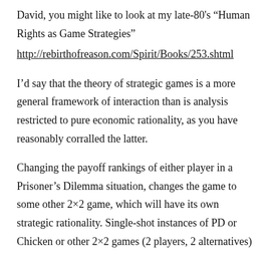David, you might like to look at my late-80’s “Human Rights as Game Strategies”
http://rebirthofreason.com/Spirit/Books/253.shtml
I’d say that the theory of strategic games is a more general framework of interaction than is analysis restricted to pure economic rationality, as you have reasonably corralled the latter.
Changing the payoff rankings of either player in a Prisoner’s Dilemma situation, changes the game to some other 2×2 game, which will have its own strategic rationality. Single-shot instances of PD or Chicken or other 2×2 games (2 players, 2 alternatives)